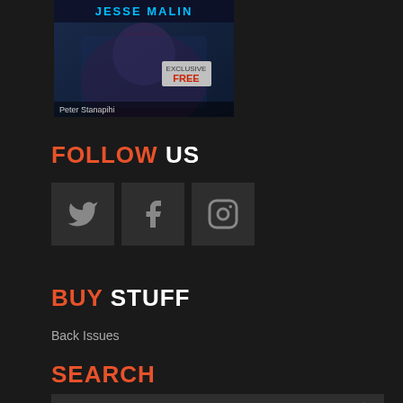[Figure (photo): Jesse Malin album cover or promotional photo showing a person in blue jacket with 'JESSE MALIN' text at top and 'FREE' text overlay, caption reads 'Peter Stanapihi']
FOLLOW US
[Figure (infographic): Three social media icon buttons in dark boxes: Twitter bird icon, Facebook f icon, Instagram camera icon]
BUY STUFF
Back Issues
SEARCH